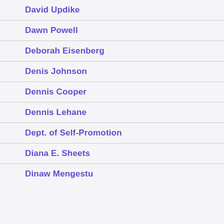David Updike
Dawn Powell
Deborah Eisenberg
Denis Johnson
Dennis Cooper
Dennis Lehane
Dept. of Self-Promotion
Diana E. Sheets
Dinaw Mengestu